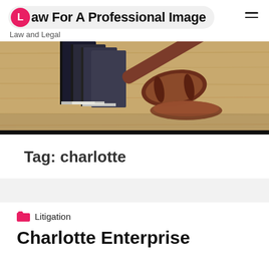Law For A Professional Image — Law and Legal
[Figure (photo): A judge's gavel resting on a wooden surface next to a stack of law books, wooden background.]
Tag: charlotte
Litigation
Charlotte Enterprise